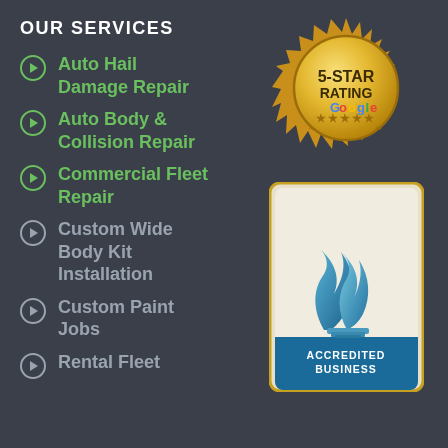OUR SERVICES
Auto Hail Damage Repair
Auto Body & Collision Repair
Commercial Fleet Repair
Custom Wide Body Kit Installation
Custom Paint Jobs
Rental Fleet
[Figure (logo): 5-Star Rating Google gold badge/seal]
[Figure (logo): BBB Accredited Business badge]